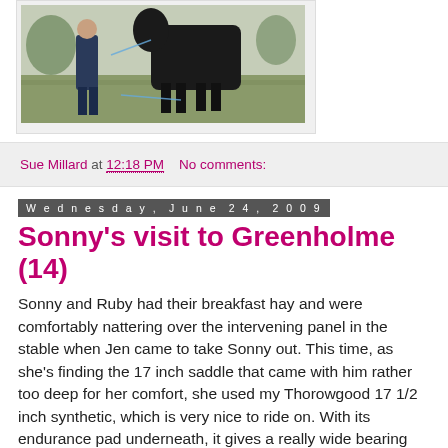[Figure (photo): Photograph of a person standing next to a dark horse outdoors on grass with ropes/leads visible]
Sue Millard at 12:18 PM   No comments:
Wednesday, June 24, 2009
Sonny's visit to Greenholme (14)
Sonny and Ruby had their breakfast hay and were comfortably nattering over the intervening panel in the stable when Jen came to take Sonny out. This time, as she's finding the 17 inch saddle that came with him rather too deep for her comfort, she used my Thorowgood 17 1/2 inch synthetic, which is very nice to ride on. With its endurance pad underneath, it gives a really wide bearing surface so is likely to be comfy for Sonny too. She mounted off a tack box outside the stable, and Graham let them into the field. Jen reports that Sonny expected to go wild – after all, this is the